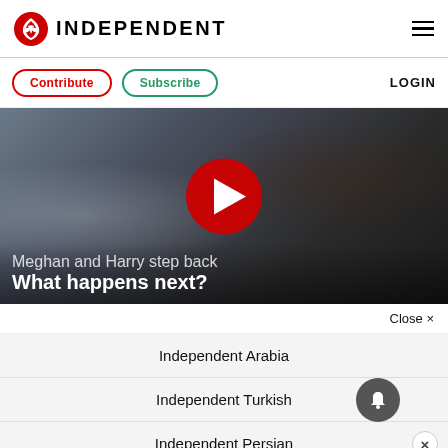INDEPENDENT
Contribute  Subscribe  LOGIN
[Figure (screenshot): Video thumbnail showing people in background with large red play button. Text overlay reads: 'Meghan and Harry step back / What happens next?']
Close ×
Independent Arabia
Independent Turkish
Independent Persian